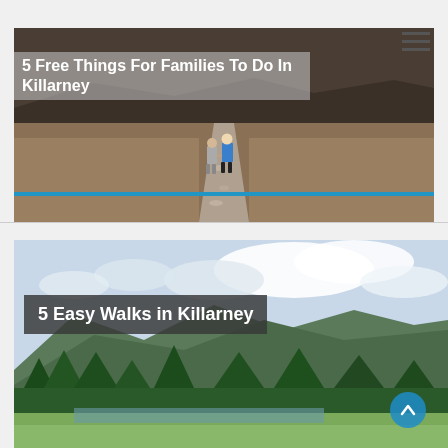[Figure (photo): Two children walking along a rocky path through moorland/heathland landscape, viewed from behind. One child wears grey, the other blue. The terrain is open with brown/golden grasses.]
5 Free Things For Families To Do In Killarney
[Figure (photo): Scenic landscape photo of Killarney, Ireland — green fields, forest treeline, mountains in background, and cloudy sky. A lake is visible in the mid-distance.]
5 Easy Walks in Killarney